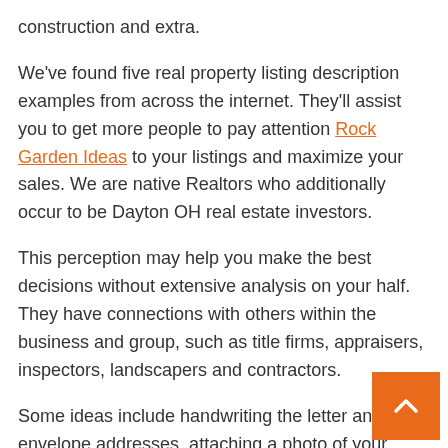construction and extra.
We've found five real property listing description examples from across the internet. They'll assist you to get more people to pay attention Rock Garden Ideas to your listings and maximize your sales. We are native Realtors who additionally occur to be Dayton OH real estate investors.
This perception may help you make the best decisions without extensive analysis on your half. They have connections with others within the business and group, such as title firms, appraisers, inspectors, landscapers and contractors.
Some ideas include handwriting the letter and envelope addresses, attaching a photo of your family or pets, and even including a drawing made by your